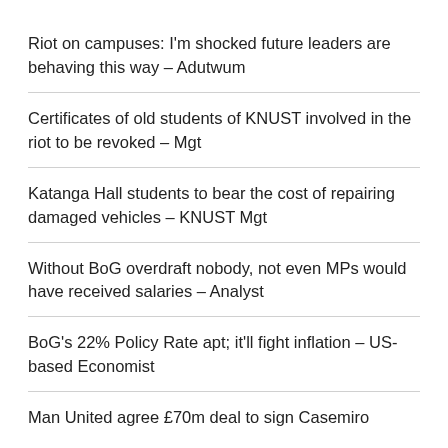Riot on campuses: I'm shocked future leaders are behaving this way – Adutwum
Certificates of old students of KNUST involved in the riot to be revoked – Mgt
Katanga Hall students to bear the cost of repairing damaged vehicles – KNUST Mgt
Without BoG overdraft nobody, not even MPs would have received salaries – Analyst
BoG's 22% Policy Rate apt; it'll fight inflation – US-based Economist
Man United agree £70m deal to sign Casemiro